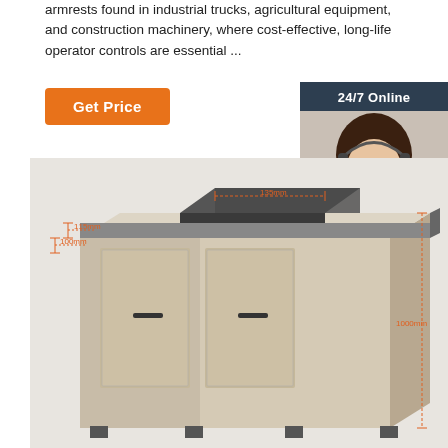armrests found in industrial trucks, agricultural equipment, and construction machinery, where cost-effective, long-life operator controls are essential ...
Get Price
24/7 Online
[Figure (photo): Customer service representative with headset, smiling]
Click here for free chat !
QUOTATION
[Figure (engineering-diagram): 3D rendering of a workstation/cabinet furniture unit with dimensions labeled: 135mm width at top, 115mm and 100mm on the left side, and 1000mm height on the right side.]